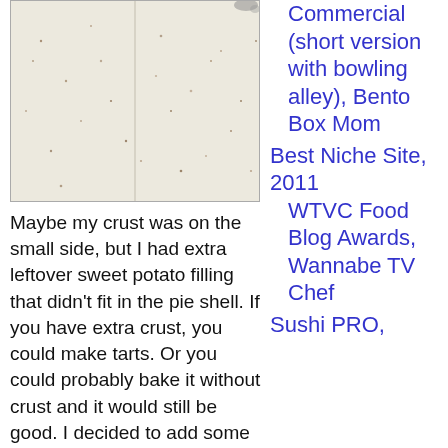[Figure (photo): Close-up photo of a pale, speckled surface (likely a pie crust or baking surface) with small brown specks scattered on it.]
Maybe my crust was on the small side, but I had extra leftover sweet potato filling that didn't fit in the pie shell. If you have extra crust, you could make tarts. Or you could probably bake it without crust and it would still be good. I decided to add some mochiko flour and bake a few mini cupcakes; these came out pretty good, but I didn't have the
Commercial (short version with bowling alley), Bento Box Mom
Best Niche Site, 2011 WTVC Food Blog Awards, Wannabe TV Chef
Sushi PRO,